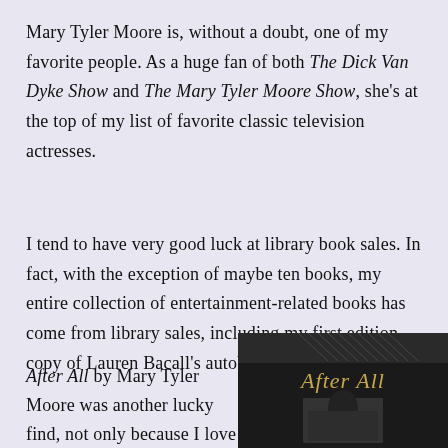Mary Tyler Moore is, without a doubt, one of my favorite people. As a huge fan of both The Dick Van Dyke Show and The Mary Tyler Moore Show, she's at the top of my list of favorite classic television actresses.
I tend to have very good luck at library book sales. In fact, with the exception of maybe ten books, my entire collection of entertainment-related books has come from library sales, including my first edition copy of Lauren Bacall's autobiography.
After All by Mary Tyler Moore was another lucky find, not only because I love MTM but because it's a fantastic read. Thi...
[Figure (photo): Book cover of 'After All' by Mary Tyler Moore — dark/black cover with gold cursive title text and a photograph of the author]